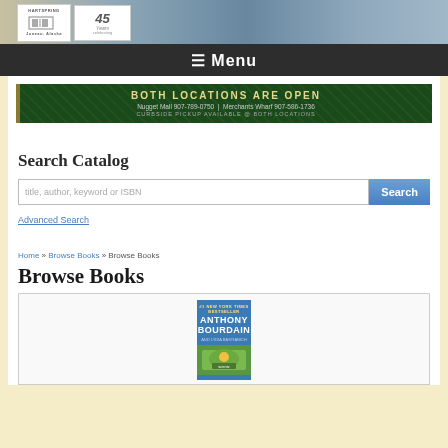[Figure (photo): Bookstore header photo with logo and 45 years anniversary badge]
☰ Menu
[Figure (infographic): Green banner: BOTH LOCATIONS ARE OPEN. Nugget Mall 907-789-0750 | Merchants Wharf 907-586-1736. CURBSIDE PICKUP AVAILABLE @ BOTH LOCATIONS]
Search Catalog
title, author, keyword or ISBN [Search button] Advanced Search
Home » Browse Books » Browse Books
Browse Books
[Figure (photo): Book cover: Anthony Bourdain, #1 New York Times Bestseller]